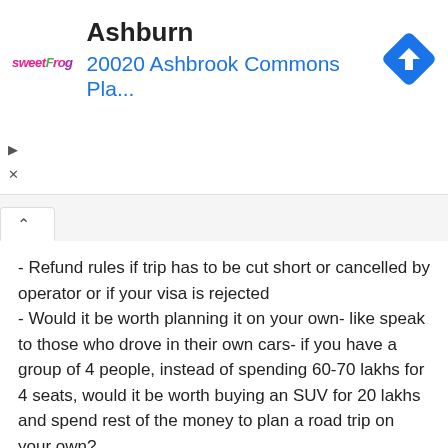[Figure (screenshot): Advertisement banner for sweetFrog frozen yogurt at 20020 Ashbrook Commons Pla... in Ashburn, with a blue navigation/directions diamond icon on the right, and play/close controls on the left.]
- Refund rules if trip has to be cut short or cancelled by operator or if your visa is rejected
- Would it be worth planning it on your own- like speak to those who drove in their own cars- if you have a group of 4 people, instead of spending 60-70 lakhs for 4 seats, would it be worth buying an SUV for 20 lakhs and spend rest of the money to plan a road trip on your own?
- Roughly 3 months of time- 70 days for trip + time to